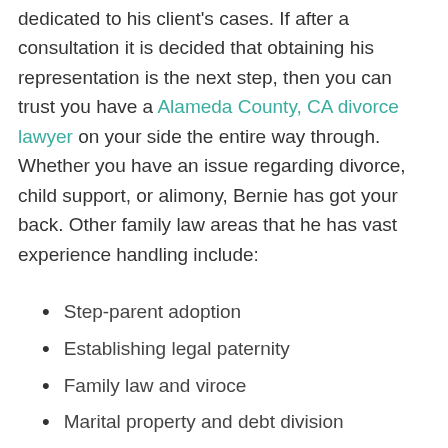dedicated to his client's cases. If after a consultation it is decided that obtaining his representation is the next step, then you can trust you have a Alameda County, CA divorce lawyer on your side the entire way through. Whether you have an issue regarding divorce, child support, or alimony, Bernie has got your back. Other family law areas that he has vast experience handling include:
Step-parent adoption
Establishing legal paternity
Family law and viroce
Marital property and debt division
Child support
Modification of divorce orders
Conservatorships and guardianships